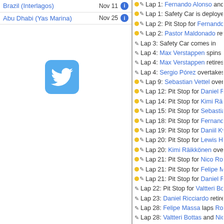Brazil (Interlagos) Nov 11
Abu Dhabi (Yas Marina) Nov 25
[Figure (logo): Twitter bird logo icon, blue rounded square button]
Lap 1: Fernando Alonso and Jens...
Lap 1: Safety Car is deployed
Lap 2: Pit Stop for Fernando Alons...
Lap 2: Pastor Maldonado retires f...
Lap 3: Safety Car comes in
Lap 4: Max Verstappen spins off c...
Lap 4: Max Verstappen retires fro...
Lap 4: Sergio Perez overtakes S...
Lap 9: Sebastian Vettel overtakes...
Lap 12: Pit Stop for Daniel Ricciar...
Lap 14: Pit Stop for Kimi Raikkonen
Lap 15: Pit Stop for Sebastian Vet...
Lap 18: Pit Stop for Fernando Alon...
Lap 19: Pit Stop for Daniil Kvyat
Lap 20: Pit Stop for Lewis Hamilto...
Lap 20: Kimi Raikkonen overtak...
Lap 21: Pit Stop for Nico Rosberg
Lap 21: Pit Stop for Felipe Massa
Lap 21: Pit Stop for Daniel Ricciar...
Lap 22: Pit Stop for Valtteri Bottas
Lap 23: Daniel Ricciardo retires fr...
Lap 28: Felipe Massa laps Robert...
Lap 28: Valtteri Bottas and Nico R...
Lap 33: Carlos Sainz, Jr. retires fr...
Lap 34: Full Course Caution Begin...